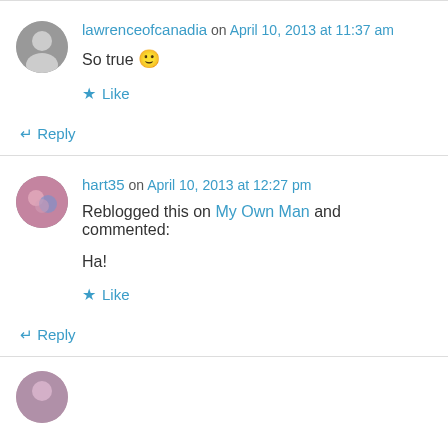lawrenceofcanadia on April 10, 2013 at 11:37 am
So true 🙂
Like
Reply
hart35 on April 10, 2013 at 12:27 pm
Reblogged this on My Own Man and commented:
Ha!
Like
Reply